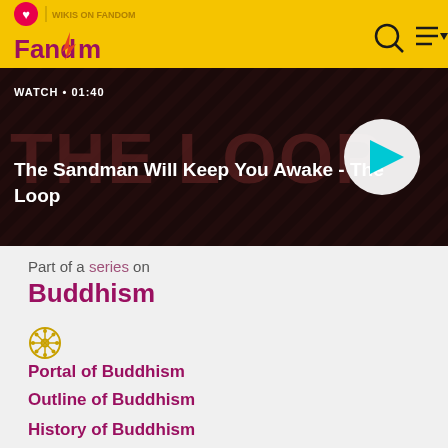Fandom | WATCH • 01:40
[Figure (screenshot): Video thumbnail for 'The Sandman Will Keep You Awake - The Loop' with dark reddish background and play button]
The Sandman Will Keep You Awake - The Loop
Part of a series on
Buddhism
[Figure (illustration): Dharma wheel symbol (Buddhist wheel) in gold/yellow color]
Portal of Buddhism
Outline of Buddhism
History of Buddhism